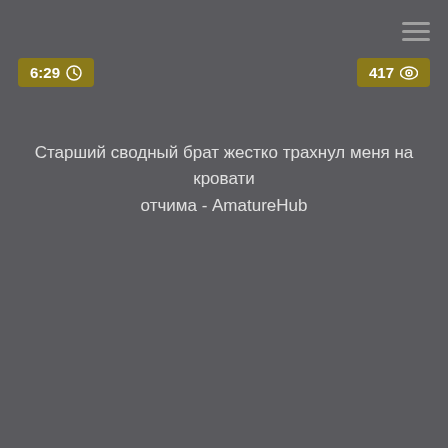[Figure (screenshot): Menu hamburger icon (three horizontal lines) in top right corner]
6:29 🕐
417 👁
Старший сводный брат жестко трахнул меня на кровати отчима - AmatureHub